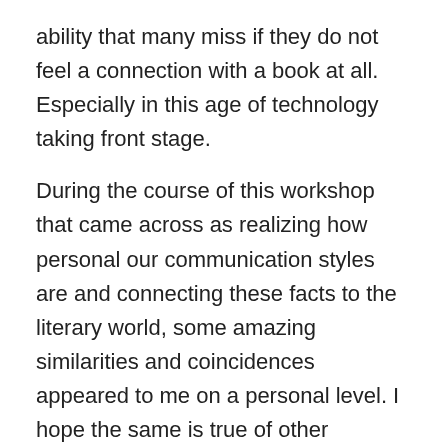ability that many miss if they do not feel a connection with a book at all. Especially in this age of technology taking front stage.
During the course of this workshop that came across as realizing how personal our communication styles are and connecting these facts to the literary world, some amazing similarities and coincidences appeared to me on a personal level. I hope the same is true of other attendees of this workshop.
Ms. McCoy, was from the Butler, PA! YEAH! Not many people are familiar with the Grove City, Butler area, unless you originated there. Beginning are important.
If you are familiar with the book, The Library Book, by Susan Orlean, We were informed Ms. McCoy is referred to